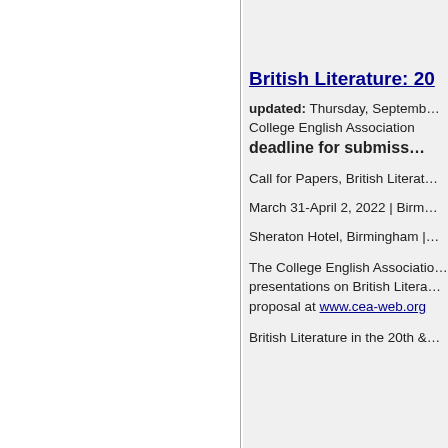British Literature: 20...
updated: Thursday, September...
College English Association
deadline for submiss...
Call for Papers, British Literat...
March 31-April 2, 2022 | Birm...
Sheraton Hotel, Birmingham |...
The College English Associatio... presentations on British Litera... proposal at www.cea-web.org
British Literature in the 20th &...